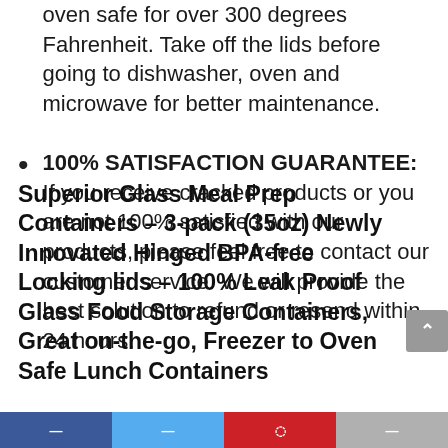oven safe for over 300 degrees Fahrenheit. Take off the lids before going to dishwasher, oven and microwave for better maintenance.
100% SATISFACTION GUARANTEE: If you receive cracked products or you are not 100% satisfied with our products, please feel free to contact our customer service. We will provide the best solution to refund or resend within 24 hours.
Superior Glass Meal Prep Containers – 3-pack (35oz) Newly Innovated Hinged BPA-free Locking lids – 100% Leak Proof Glass Food Storage Containers, Great on-the-go, Freezer to Oven Safe Lunch Containers
[social share bar: Facebook, Twitter, Pinterest, other]